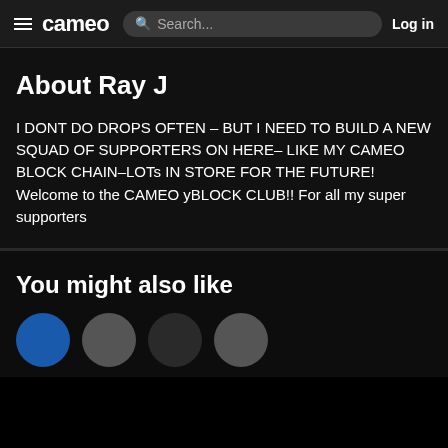cameo  Search...  Log in
About Ray J
I DONT DO DROPS OFTEN – BUT I NEED TO BUILD A NEW SQUAD OF SUPPORTERS ON HERE– LIKE MY CAMEO BLOCK CHAIN–LOTs IN STORE FOR THE FUTURE!
Welcome to the CAMEO yBLOCK CLUB!! For all my super supporters
You might also like
[Figure (photo): Partial row of circular avatar profile photos at bottom of page]